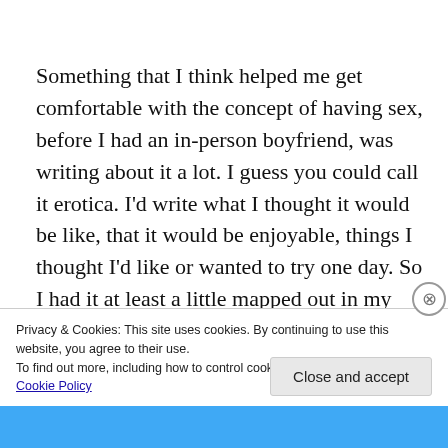Something that I think helped me get comfortable with the concept of having sex, before I had an in-person boyfriend, was writing about it a lot. I guess you could call it erotica. I'd write what I thought it would be like, that it would be enjoyable, things I thought I'd like or wanted to try one day. So I had it at least a little mapped out in my brain
Privacy & Cookies: This site uses cookies. By continuing to use this website, you agree to their use.
To find out more, including how to control cookies, see here:
Cookie Policy
Close and accept